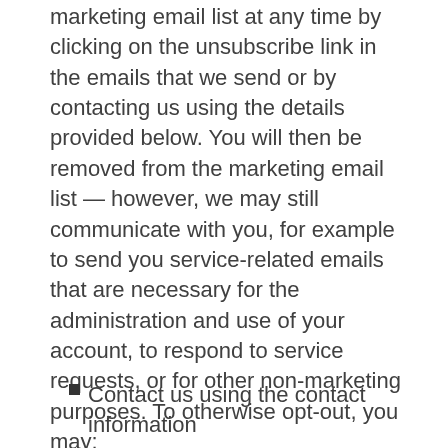marketing email list at any time by clicking on the unsubscribe link in the emails that we send or by contacting us using the details provided below. You will then be removed from the marketing email list — however, we may still communicate with you, for example to send you service-related emails that are necessary for the administration and use of your account, to respond to service requests, or for other non-marketing purposes. To otherwise opt-out, you may:
Contact us using the contact information